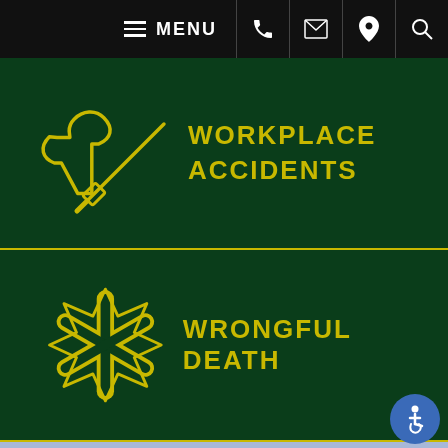MENU (navigation bar with phone, email, location, search icons)
[Figure (infographic): Dark green menu tile with crossed wrench and screwdriver icon and text WORKPLACE ACCIDENTS in yellow]
[Figure (infographic): Dark green menu tile with medical star of life icon and text WRONGFUL DEATH in yellow]
[Figure (photo): Light blue/periwinkle background area (sky photo) with accessibility icon button in bottom right corner]